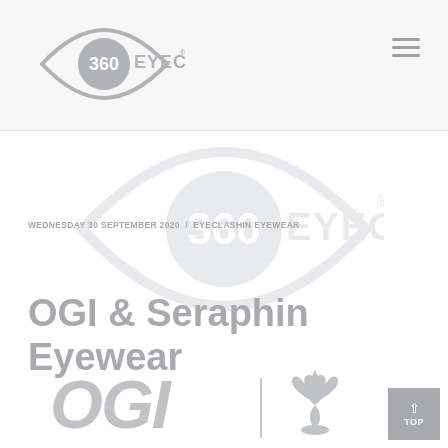[Figure (logo): 360 Eyecare logo in header - eye shape with 360 and EYECARE text]
[Figure (logo): Hamburger menu icon (three horizontal lines) in top right]
[Figure (logo): 360 Eyecare watermark logo in content area background]
WEDNESDAY 30 SEPTEMBER 2020 / EYECLASHIN EYEWEAR
OGI & Seraphin Eyewear
[Figure (logo): OGI italic text logo at bottom left]
[Figure (logo): Seraphin fleur-de-lis logo at bottom center]
[Figure (other): TOP scroll-to-top button in bottom right corner]